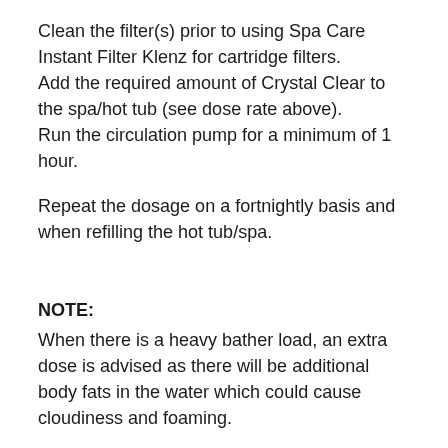Clean the filter(s) prior to using Spa Care Instant Filter Klenz for cartridge filters.
Add the required amount of Crystal Clear to the spa/hot tub (see dose rate above).
Run the circulation pump for a minimum of 1 hour.
Repeat the dosage on a fortnightly basis and when refilling the hot tub/spa.
NOTE:
When there is a heavy bather load, an extra dose is advised as there will be additional body fats in the water which could cause cloudiness and foaming.
Any advice or suggestions above, including but not limited to instructions and dosing rates are intended to be a guide only. Spa Store and its staff recommend you read the full instructions on all